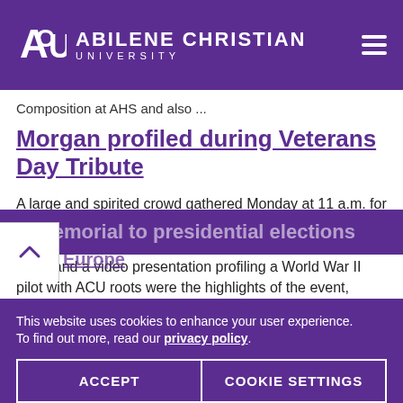Abilene Christian University
Composition at AHS and also ...
Morgan profiled during Veterans Day Tribute
A large and spirited crowd gathered Monday at 11 a.m. for Abilene Christian University's annual Veterans Day Tribute. Patriotic and reflective music by the Big Purple Band and a video presentation profiling a World War II pilot with ACU roots were the highlights of the event, which including the
This website uses cookies to enhance your user experience. To find out more, read our privacy policy.
ACCEPT   COOKIE SETTINGS